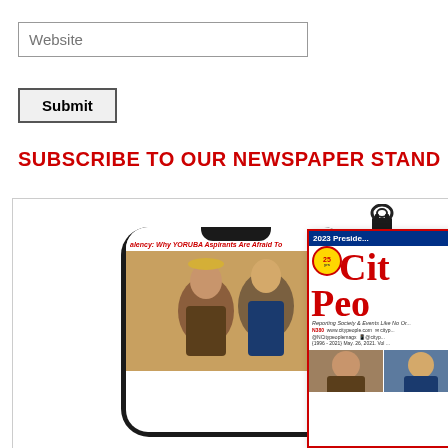Website
Submit
SUBSCRIBE TO OUR NEWSPAPER STAND
[Figure (photo): Newspaper stand subscription section showing a smartphone displaying City People newspaper digital edition and a physical City People magazine cover with '2023 Preside...' headline, binder clip at top, with faces visible at bottom]